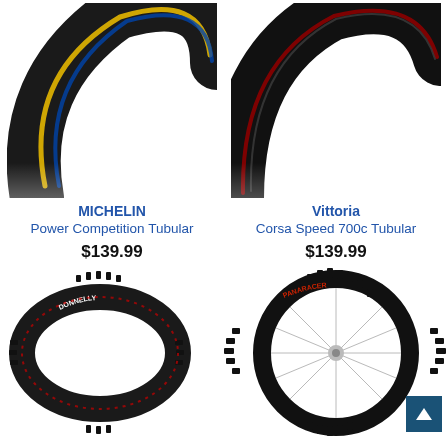[Figure (photo): Michelin Power Competition Tubular road bike tire, black with yellow and blue branding, close-up of tread side]
[Figure (photo): Vittoria Corsa Speed 700c Tubular road bike tire, black with white and red branding, close-up of smooth tread]
MICHELIN
Power Competition Tubular
$139.99
Vittoria
Corsa Speed 700c Tubular
$139.99
[Figure (photo): Donnelly cross/gravel tubular bike tire, black, shown as full oval loop, side profile]
[Figure (photo): Panaracer cyclocross knobby tread tire mounted on a silver spoke wheel, black with red lettering]